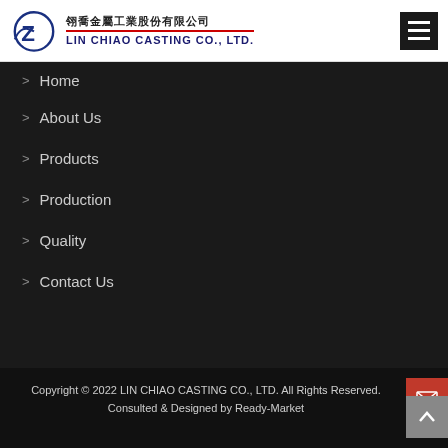翎喬金屬工業股份有限公司 LIN CHIAO CASTING CO., LTD.
> Home
> About Us
> Products
> Production
> Quality
> Contact Us
Copyright © 2022 LIN CHIAO CASTING CO., LTD. All Rights Reserved. Consulted & Designed by Ready-Market